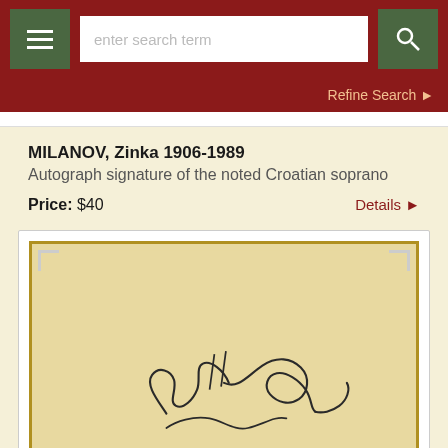enter search term
Refine Search
MILANOV, Zinka 1906-1989
Autograph signature of the noted Croatian soprano
Price: $40
Details
[Figure (photo): Autograph signature of Zinka Milanov on a yellowed album page with corner mounts, mounted on gold-bordered card]